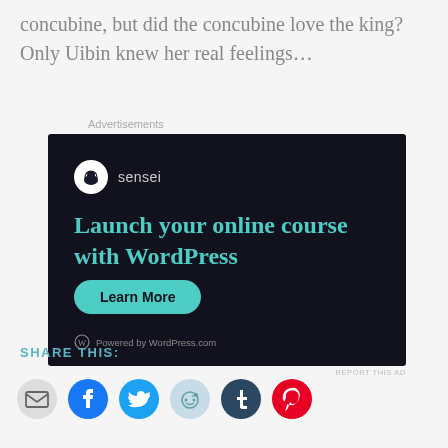concubine, but did the concubine love the king? Only Uibin knew her real feelings…
[Figure (screenshot): Advertisement for Sensei plugin: 'Launch your online course with WordPress' with a Learn More button and Powered by WordPress.com footer, on dark background.]
SHARE THIS:
[Figure (infographic): Row of social share icon buttons: email (grey), Facebook (blue), Twitter (cyan), Reddit (light blue), Tumblr (dark teal), Pinterest (red).]